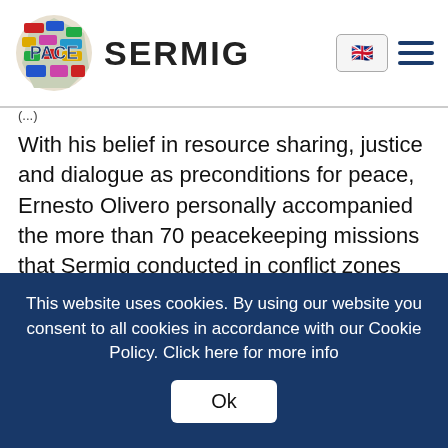PACE SERMIG
With his belief in resource sharing, justice and dialogue as preconditions for peace, Ernesto Olivero personally accompanied the more than 70 peacekeeping missions that Sermig conducted in conflict zones like Somalia, Rwanda, Yugoslavia and Albania. Basic necessities were sent to the people living there, without making any political or religious distinction. Thus, he has performed around 3.050 humanitarian actions in more than 90 countries, including studies and projects to promote self-development and necessities sent to entire populations and…
This website uses cookies. By using our website you consent to all cookies in accordance with our Cookie Policy. Click here for more info
Ok